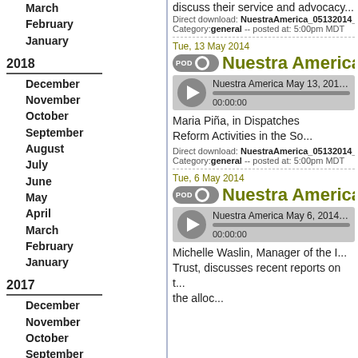March
February
January
2018
December
November
October
September
August
July
June
May
April
March
February
January
2017
December
November
October
September
August
July
June
May
April
March
February
January
2016
discuss their service and advocacy...
Direct download: NuestraAmerica_05132014_Joann...
Category: general -- posted at: 5:00pm MDT
Tue, 13 May 2014
[Figure (other): Podcast play button and title: Nuestra America Ma...]
[Figure (other): Audio player: Nuestra America May 13, 2014 M... 00:00:00]
Maria Piña, in Dispatches Reform Activities in the So...
Direct download: NuestraAmerica_05132014_Maria...
Category: general -- posted at: 5:00pm MDT
Tue, 6 May 2014
[Figure (other): Podcast play button and title: Nuestra America Ma...]
[Figure (other): Audio player: Nuestra America May 6, 2014 Mi... 00:00:00]
Michelle Waslin, Manager of the I... Trust, discusses recent reports on t... the alloc...